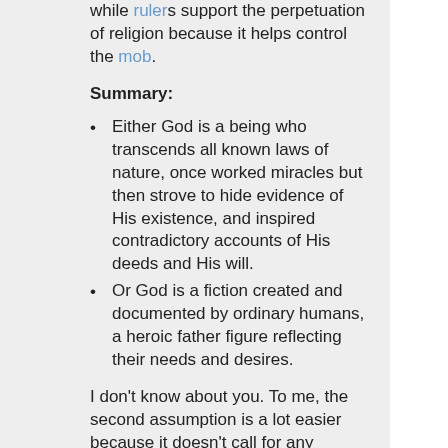while rulers support the perpetuation of religion because it helps control the mob.
Summary:
Either God is a being who transcends all known laws of nature, once worked miracles but then strove to hide evidence of His existence, and inspired contradictory accounts of His deeds and His will.
Or God is a fiction created and documented by ordinary humans, a heroic father figure reflecting their needs and desires.
I don't know about you. To me, the second assumption is a lot easier because it doesn't call for any extraordinary